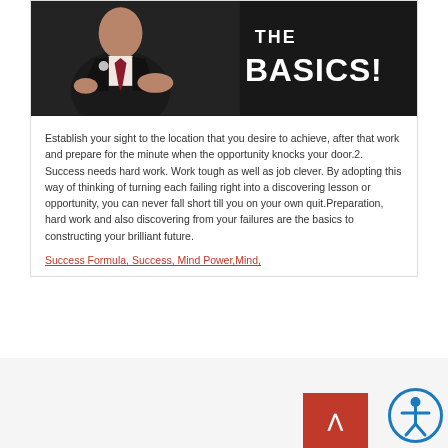[Figure (photo): Photo of a man in a suit gesturing, with bold white text reading 'THE BASICS!' on dark background]
Establish your sight to the location that you desire to achieve, after that work and prepare for the minute when the opportunity knocks your door.2. Success needs hard work. Work tough as well as job clever. By adopting this way of thinking of turning each failing right into a discovering lesson or opportunity, you can never fall short till you on your own quit.Preparation, hard work and also discovering from your failures are the basics to constructing your brilliant future.
Success Formula, Success, Mind Power,Mind,